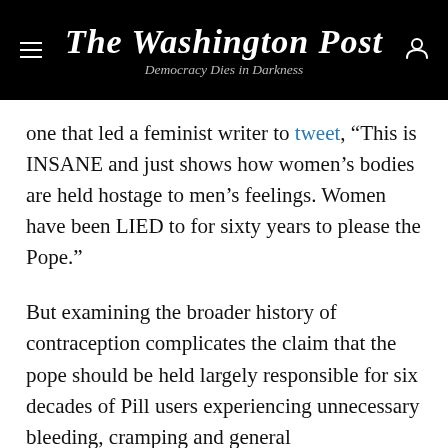The Washington Post
Democracy Dies in Darkness
one that led a feminist writer to tweet, “This is INSANE and just shows how women’s bodies are held hostage to men’s feelings. Women have been LIED to for sixty years to please the Pope.”
But examining the broader history of contraception complicates the claim that the pope should be held largely responsible for six decades of Pill users experiencing unnecessary bleeding, cramping and general unpleasantness. While Rock and his collaborator Gregory Pincus considered the Catholic Church when devising the birth control cycle, there
assumptions about women — that determined the Pill’s